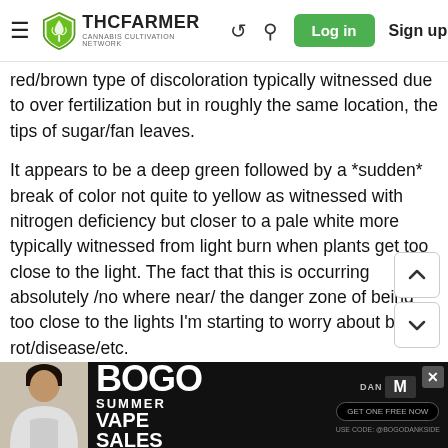THC FARMER — Cannabis Cultivation Network — Log in — Sign up
red/brown type of discoloration typically witnessed due to over fertilization but in roughly the same location, the tips of sugar/fan leaves.
It appears to be a deep green followed by a *sudden* break of color not quite to yellow as witnessed with nitrogen deficiency but closer to a pale white more typically witnessed from light burn when plants get too close to the light. The fact that this is occurring absolutely /no where near/ the danger zone of being too close to the lights I'm starting to worry about bud rot/disease/etc.
This is occurring sparsely primarily on lower branches and
[Figure (photo): Advertisement banner: BOGO Summer Vape Sales promotion with a person's photo on the left side]